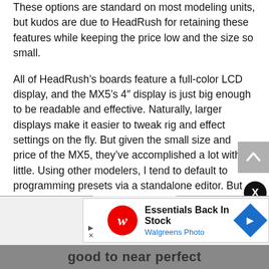These options are standard on most modeling units, but kudos are due to HeadRush for retaining these features while keeping the price low and the size so small.
All of HeadRush's boards feature a full-color LCD display, and the MX5's 4" display is just big enough to be readable and effective. Naturally, larger displays make it easier to tweak rig and effect settings on the fly. But given the small size and price of the MX5, they've accomplished a lot with a little. Using other modelers, I tend to default to programming presets via a standalone editor. But the gurus at HeadRush made the MX5's interface very intuitive and maintained a balance between function and complexity. There are just enough parameters to give you plenty of control without falling into option paralysis.
[Figure (screenshot): Advertisement banner for Walgreens Photo: 'Essentials Back In Stock' with Walgreens logo, blue arrow icon, and play/close controls.]
good to near perfect